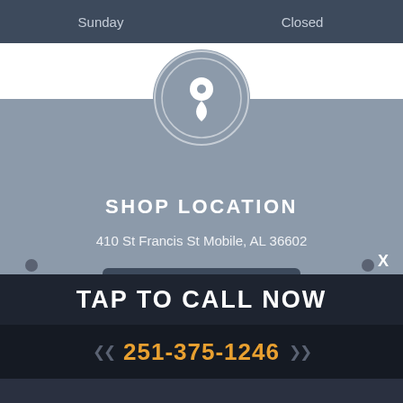| Day | Status |
| --- | --- |
| Sunday | Closed |
[Figure (illustration): Grey circular location pin icon with white map marker inside, double-ring border]
SHOP LOCATION
410 St Francis St Mobile, AL 36602
GET DIRECTIONS
TAP TO CALL NOW
251-375-1246